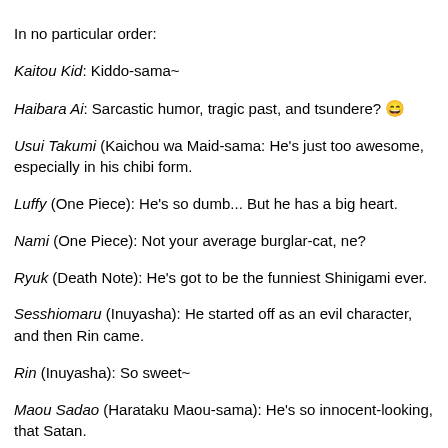In no particular order:
Kaitou Kid: Kiddo-sama~
Haibara Ai: Sarcastic humor, tragic past, and tsundere? 😄
Usui Takumi (Kaichou wa Maid-sama: He's just too awesome, especially in his chibi form.
Luffy (One Piece): He's so dumb... But he has a big heart.
Nami (One Piece): Not your average burglar-cat, ne?
Ryuk (Death Note): He's got to be the funniest Shinigami ever.
Sesshiomaru (Inuyasha): He started off as an evil character, and then Rin came.
Rin (Inuyasha): So sweet~
Maou Sadao (Harataku Maou-sama): He's so innocent-looking, that Satan.
EDIT: New favorite character *-*
Levi Ackerman (Attack on Titan/Shingeki no Kyojin): Best. Character. Ever.
[Figure (photo): Anime screenshot of Levi Ackerman from Attack on Titan, close-up of face with dark hair and stern expression, dark background with golden/green lighting]